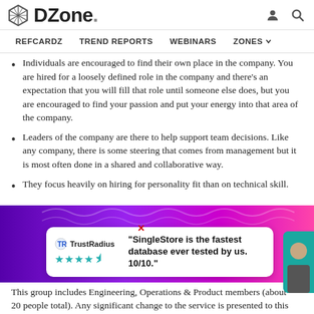DZone. REFCARDZ TREND REPORTS WEBINARS ZONES
Individuals are encouraged to find their own place in the company. You are hired for a loosely defined role in the company and there's an expectation that you will fill that role until someone else does, but you are encouraged to find your passion and put your energy into that area of the company.
Leaders of the company are there to help support team decisions. Like any company, there is some steering that comes from management but it is most often done in a shared and collaborative way.
They focus heavily on hiring for personality fit than on technical skill.
This group includes Engineering, Operations & Product members (about 20 people total). Any significant change to the service is presented to this
[Figure (screenshot): TrustRadius advertisement: 'SingleStore is the fastest database ever tested by us. 10/10.' with TrustRadius logo and star rating]